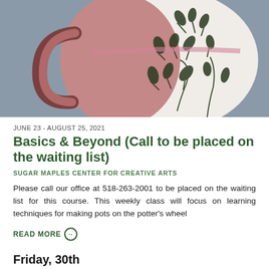[Figure (photo): Close-up photograph of a ceramic pottery pitcher/vase with a pink/mauve body and dark green leaf/vine painted decoration pattern on white sections. The piece has a distinctive handle on the left side.]
JUNE 23 - AUGUST 25, 2021
Basics & Beyond (Call to be placed on the waiting list)
SUGAR MAPLES CENTER FOR CREATIVE ARTS
Please call our office at 518-263-2001 to be placed on the waiting list for this course. This weekly class will focus on learning techniques for making pots on the potter's wheel
READ MORE
Friday, 30th